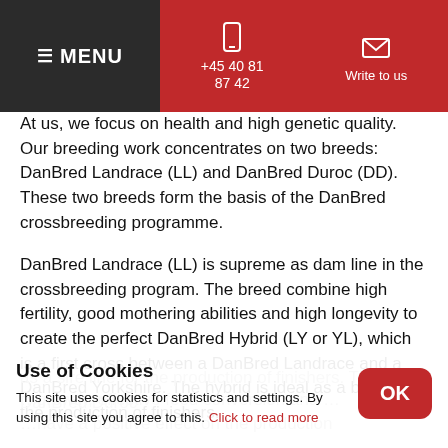≡ MENU | +45 40 81 87 42 | Write to us
At us, we focus on health and high genetic quality. Our breeding work concentrates on two breeds: DanBred Landrace (LL) and DanBred Duroc (DD). These two breeds form the basis of the DanBred crossbreeding programme.
DanBred Landrace (LL) is supreme as dam line in the crossbreeding program. The breed combine high fertility, good mothering abilities and high longevity to create the perfect DanBred Hybrid (LY or YL), which is a first cross between a DanBred Landrace and a DanBred Yorkshire. The hybrid is ideal as a basis for the production of finishers.
We use the DanBred Duroc (DD) in our crossbreeding program as a sire line for the production of finishers. The DanBred Duroc …growth, effective feed conversion and …have a positive effect on the production
Use of Cookies
This site uses cookies for statistics and settings. By using this site you agree to this. Click to read more